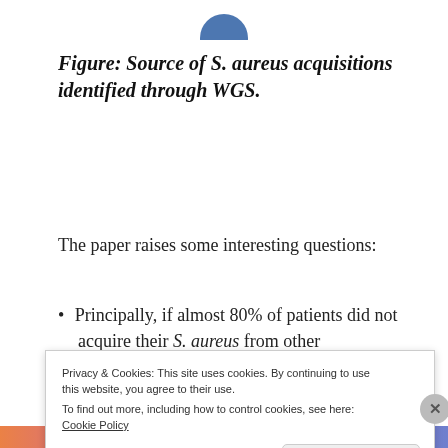[Figure (pie-chart): Partial view of a pie/donut chart showing source of S. aureus acquisitions, cropped at top of page]
Figure: Source of S. aureus acquisitions identified through WGS.
The paper raises some interesting questions:
Principally, if almost 80% of patients did not acquire their S. aureus from other
Privacy & Cookies: This site uses cookies. By continuing to use this website, you agree to their use.
To find out more, including how to control cookies, see here: Cookie Policy
Close and accept